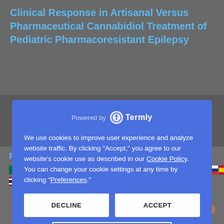Clinical Response in Artisanal Versus Pharmaceutical Cannabidiol Treatment of Pediatric Pharmacoresistant Epilepsy
We use cookies to improve user experience and analyze website traffic. By clicking "Accept," you agree to our website's cookie use as described in our Cookie Policy. You can change your cookie settings at any time by clicking "Preferences."
DECLINE
ACCEPT
PREFERENCES
Perpetrators and victims
is cause
powered by Calendly